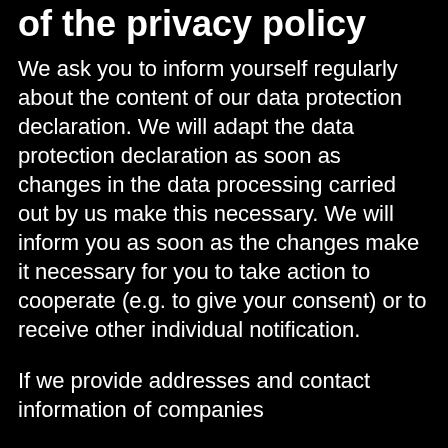of the privacy policy
We ask you to inform yourself regularly about the content of our data protection declaration. We will adapt the data protection declaration as soon as changes in the data processing carried out by us make this necessary. We will inform you as soon as the changes make it necessary for you to take action to cooperate (e.g. to give your consent) or to receive other individual notification.
If we provide addresses and contact information of companies